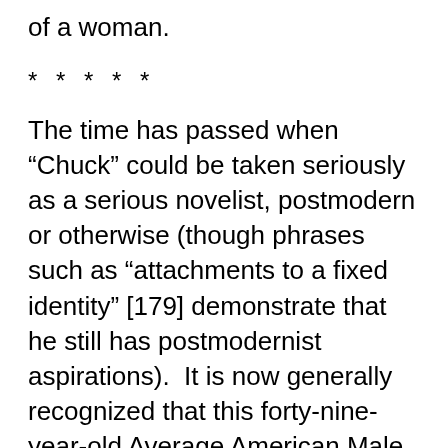of a woman.
* * * * *
The time has passed when “Chuck” could be taken seriously as a serious novelist, postmodern or otherwise (though phrases such as “attachments to a fixed identity” [179] demonstrate that he still has postmodernist aspirations).  It is now generally recognized that this forty-nine-year-old Average American Male writes insufficient young-adult fiction and that his books belong in the ‘Young Adult’ section of libraries and bookstores, or perhaps in the ‘Special Interest’ category.  It is saddening that